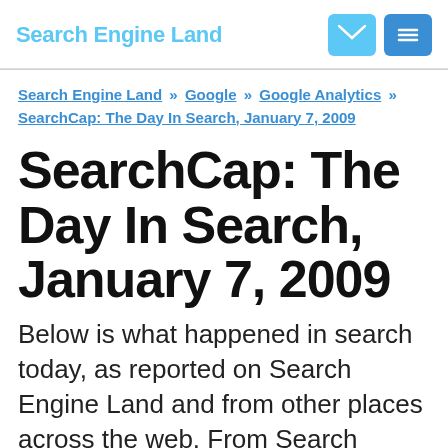Search Engine Land
Search Engine Land » Google » Google Analytics » SearchCap: The Day In Search, January 7, 2009
SearchCap: The Day In Search, January 7, 2009
Below is what happened in search today, as reported on Search Engine Land and from other places across the web. From Search Engine Land: Search Biz: Yahoo-